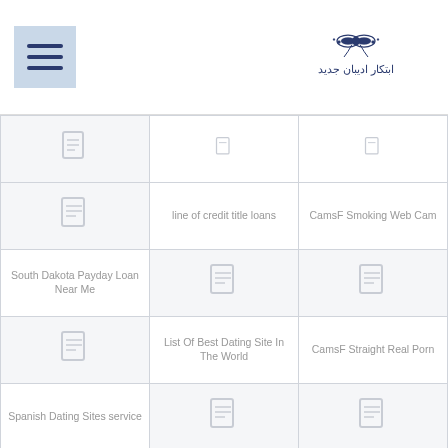Menu / Hamburger icon and logo
| Col1 | Col2 | Col3 |
| --- | --- | --- |
| [icon] | line of credit title loans | CamsF Smoking Web Cam |
| South Dakota Payday Loan Near Me | [icon] | [icon] |
| [icon] | List Of Best Dating Site In The World | CamsF Straight Real Porn |
| Spanish Dating Sites service | [icon] | [icon] |
| [icon] | little armenia mobile site | CamsF Teen Web Cam |
| Sparky visitors | [icon] | [icon] |
| [icon] | little armenia review | CamsF TRANS XXX |
| Spdate app | [icon] | [icon] |